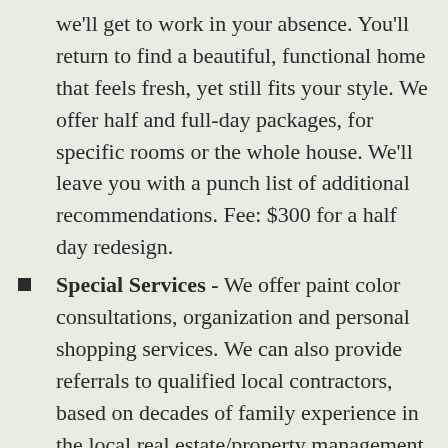we'll get to work in your absence. You'll return to find a beautiful, functional home that feels fresh, yet still fits your style. We offer half and full-day packages, for specific rooms or the whole house. We'll leave you with a punch list of additional recommendations. Fee: $300 for a half day redesign.
Special Services - We offer paint color consultations, organization and personal shopping services. We can also provide referrals to qualified local contractors, based on decades of family experience in the local real estate/property management market. Fee: per project.